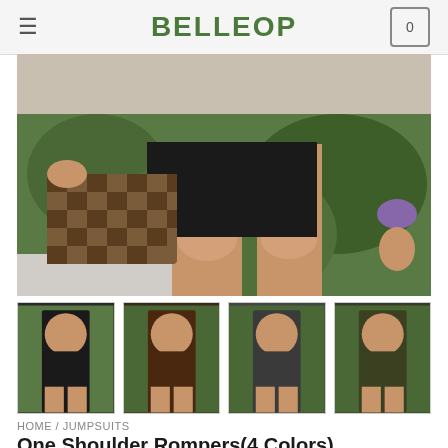BELLEOP
[Figure (photo): Close-up photo of a woman wearing a black one-shoulder romper, holding a brown checkered clutch bag, standing outdoors with green foliage in background. Only lower torso and legs visible.]
[Figure (photo): Four thumbnail images of a woman wearing the one-shoulder romper in four colors: black, dark brown/burgundy, dark grey, and dark olive/army green.]
HOME / JUMPSUITS
One Shoulder Rompers(4 Colors)